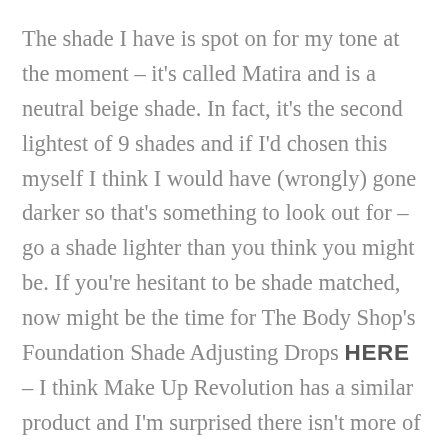The shade I have is spot on for my tone at the moment – it's called Matira and is a neutral beige shade. In fact, it's the second lightest of 9 shades and if I'd chosen this myself I think I would have (wrongly) gone darker so that's something to look out for – go a shade lighter than you think you might be. If you're hesitant to be shade matched, now might be the time for The Body Shop's Foundation Shade Adjusting Drops HERE – I think Make Up Revolution has a similar product and I'm surprised there isn't more of a push on these given the situation. It takes the edge off nervous on-line foundation buying.